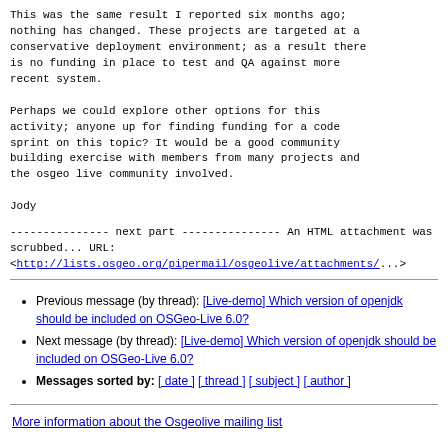This was the same result I reported six months ago;
nothing has changed. These projects are targeted at a
conservative deployment environment; as a result there
is no funding in place to test and QA against more
recent system.

Perhaps we could explore other options for this
activity; anyone up for finding funding for a code
sprint on this topic? It would be a good community
building exercise with members from many projects and
the osgeo live community involved.

Jody
--------------- next part ---------------
An HTML attachment was scrubbed...
URL:
<http://lists.osgeo.org/pipermail/osgeolive/attachments/...>
Previous message (by thread): [Live-demo] Which version of openjdk should be included on OSGeo-Live 6.0?
Next message (by thread): [Live-demo] Which version of openjdk should be included on OSGeo-Live 6.0?
Messages sorted by: [ date ] [ thread ] [ subject ] [ author ]
More information about the Osgeolive mailing list